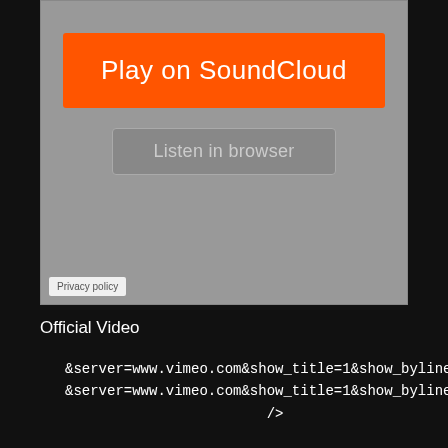[Figure (screenshot): SoundCloud embedded widget with orange 'Play on SoundCloud' button and grey 'Listen in browser' button on a grey background, with Privacy policy link in bottom left]
Official Video
&server=www.vimeo.com&show_title=1&show_byline=1&show_portrait=
&server=www.vimeo.com&show_title=1&show_byline=1&show_portrait=
/>